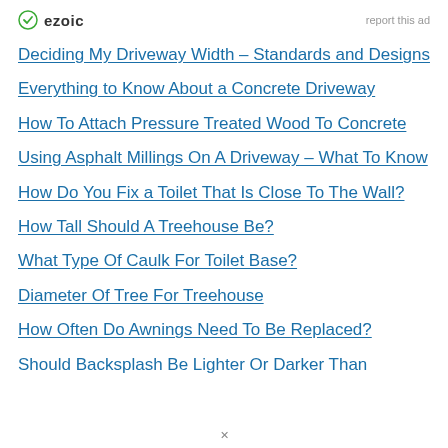[Figure (logo): Ezoic logo with green circular icon and bold text 'ezoic']
report this ad
Deciding My Driveway Width – Standards and Designs
Everything to Know About a Concrete Driveway
How To Attach Pressure Treated Wood To Concrete
Using Asphalt Millings On A Driveway – What To Know
How Do You Fix a Toilet That Is Close To The Wall?
How Tall Should A Treehouse Be?
What Type Of Caulk For Toilet Base?
Diameter Of Tree For Treehouse
How Often Do Awnings Need To Be Replaced?
Should Backsplash Be Lighter Or Darker Than